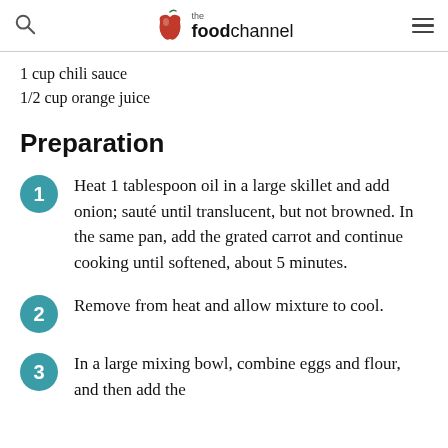the foodchannel
1 cup chili sauce
1/2 cup orange juice
Preparation
1. Heat 1 tablespoon oil in a large skillet and add onion; sauté until translucent, but not browned. In the same pan, add the grated carrot and continue cooking until softened, about 5 minutes.
2. Remove from heat and allow mixture to cool.
3. In a large mixing bowl, combine eggs and flour, and then add the...